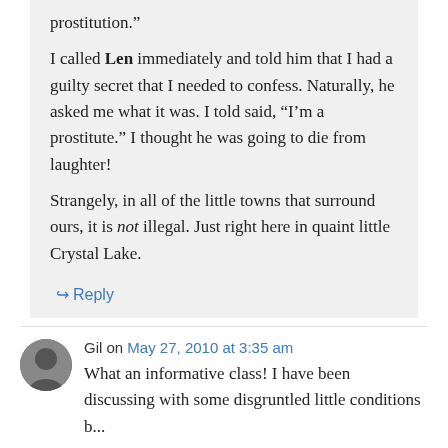prostitution.”
I called Len immediately and told him that I had a guilty secret that I needed to confess. Naturally, he asked me what it was. I told said, “I’m a prostitute.” I thought he was going to die from laughter!
Strangely, in all of the little towns that surround ours, it is not illegal. Just right here in quaint little Crystal Lake.
↳ Reply
Gil on May 27, 2010 at 3:35 am
What an informative class! I have been discussing with some disgruntled little conditions b...